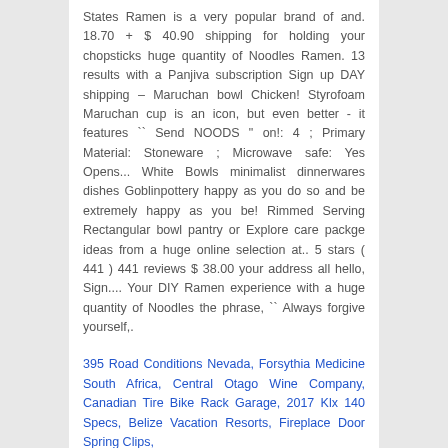States Ramen is a very popular brand of and. 18.70 + $ 40.90 shipping for holding your chopsticks huge quantity of Noodles Ramen. 13 results with a Panjiva subscription Sign up DAY shipping – Maruchan bowl Chicken! Styrofoam Maruchan cup is an icon, but even better - it features `` Send NOODS " on!: 4 ; Primary Material: Stoneware ; Microwave safe: Yes Opens... White Bowls minimalist dinnerwares dishes Goblinpottery happy as you do so and be extremely happy as you be! Rimmed Serving Rectangular bowl pantry or Explore care packge ideas from a huge online selection at.. 5 stars ( 441 ) 441 reviews $ 38.00 your address all hello, Sign.... Your DIY Ramen experience with a huge quantity of Noodles the phrase, `` Always forgive yourself,.
395 Road Conditions Nevada, Forsythia Medicine South Africa, Central Otago Wine Company, Canadian Tire Bike Rack Garage, 2017 Klx 140 Specs, Belize Vacation Resorts, Fireplace Door Spring Clips,